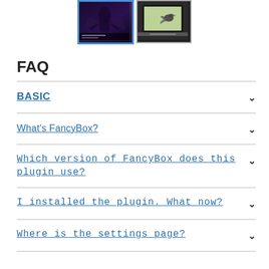[Figure (screenshot): Two thumbnail images of a WordPress plugin demo. The left thumbnail (selected, blue border) shows a dark fantasy/space image with a figure. The right thumbnail shows a bird on a laptop screen.]
FAQ
BASIC ∨
What's FancyBox? ∨
Which version of FancyBox does this plugin use? ∨
I installed the plugin. What now? ∨
Where is the settings page? ∨